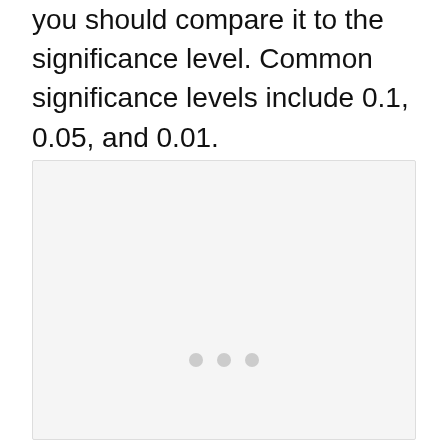you should compare it to the significance level. Common significance levels include 0.1, 0.05, and 0.01.
[Figure (other): A placeholder image box with three small grey dots indicating loading or missing content]